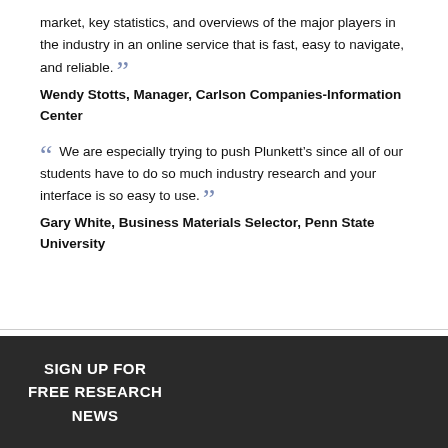market, key statistics, and overviews of the major players in the industry in an online service that is fast, easy to navigate, and reliable.
Wendy Stotts, Manager, Carlson Companies-Information Center
We are especially trying to push Plunkett's since all of our students have to do so much industry research and your interface is so easy to use.
Gary White, Business Materials Selector, Penn State University
SIGN UP FOR FREE RESEARCH NEWS